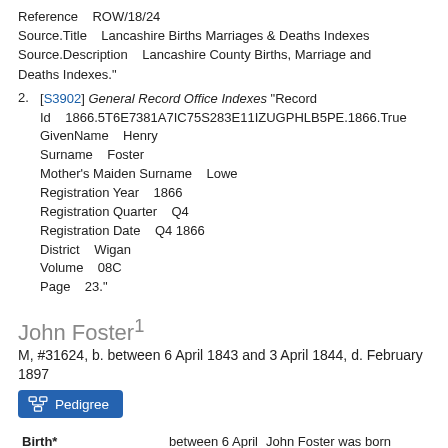Reference    ROW/18/24
Source.Title    Lancashire Births Marriages & Deaths Indexes
Source.Description    Lancashire County Births, Marriage and Deaths Indexes."
2. [S3902] General Record Office Indexes "Record Id    1866.5T6E7381A7IC75S283E11IZUGPHLB5PE.1866.True GivenName    Henry Surname    Foster Mother's Maiden Surname    Lowe Registration Year    1866 Registration Quarter    Q4 Registration Date    Q4 1866 District    Wigan Volume    08C Page    23."
John Foster¹
M, #31624, b. between 6 April 1843 and 3 April 1844, d. February 1897
Pedigree
Birth*    between 6 April 1843 and 3 April 1844    John Foster was born between 6 April 1843 and 3 April 1844 at Billinge, Lancashire, England. 2,3